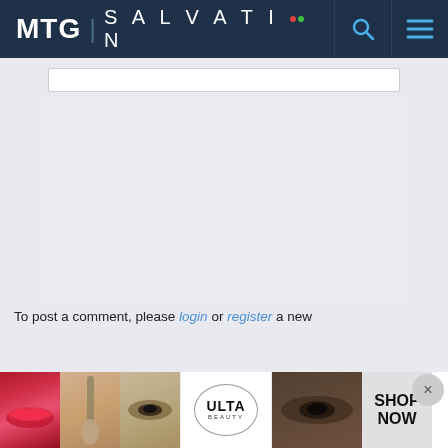MTG | SALVATION
[Figure (screenshot): Large empty white/light content area below header input box]
To post a comment, please login or register a new
[Figure (photo): Ulta Beauty advertisement banner with makeup photos showing lips, brush, eyes, and SHOP NOW call to action]